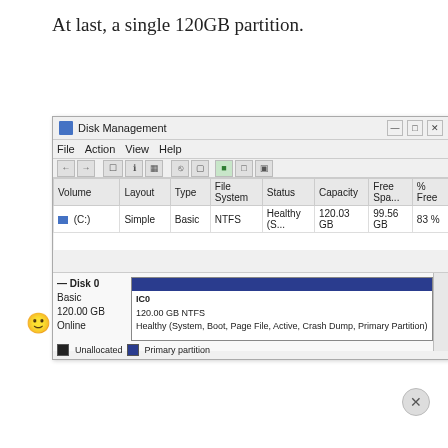At last, a single 120GB partition.
[Figure (screenshot): Windows Disk Management window showing a single 120.00 GB NTFS primary partition on Disk 0. The volume table lists (C:) as Simple, Basic, NTFS, Healthy (S..., 120.03 GB capacity, 99.56 GB free, 83% free. The disk area shows Disk 0, Basic, 120.00 GB, Online with a blue bar for the C: drive labeled IC0, 120.00 GB NTFS, Healthy (System, Boot, Page File, Active, Crash Dump, Primary Partition). Legend shows Unallocated and Primary partition.]
[Figure (screenshot): Cookie consent banner: Privacy & Cookies: This site uses cookies. By continuing to use this website, you agree to their use. To find out more, including how to control cookies, see here: Cookie Policy. Close and accept button.]